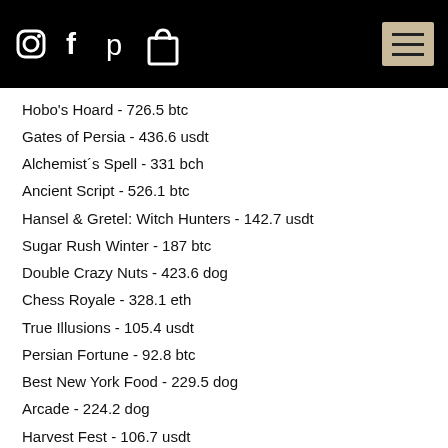[Social media icons: Instagram, Facebook, Pinterest, Cart(0), Menu]
Hobo's Hoard - 726.5 btc
Gates of Persia - 436.6 usdt
Alchemist´s Spell - 331 bch
Ancient Script - 526.1 btc
Hansel & Gretel: Witch Hunters - 142.7 usdt
Sugar Rush Winter - 187 btc
Double Crazy Nuts - 423.6 dog
Chess Royale - 328.1 eth
True Illusions - 105.4 usdt
Persian Fortune - 92.8 btc
Best New York Food - 229.5 dog
Arcade - 224.2 dog
Harvest Fest - 106.7 usdt
Reef run - 8.5 eth
Golden Profits - 464 dog
Popular Slots: